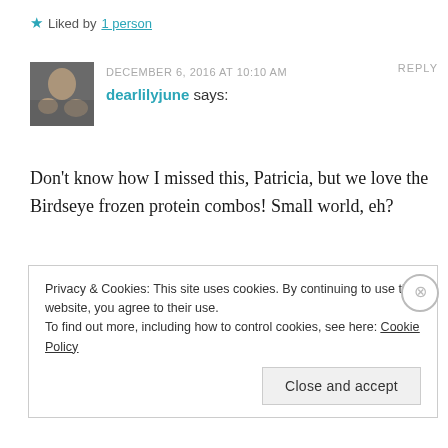★ Liked by 1 person
DECEMBER 6, 2016 AT 10:10 AM   REPLY
dearlilyjune says:
Don't know how I missed this, Patricia, but we love the Birdseye frozen protein combos! Small world, eh?
★ Liked by 1 person
Privacy & Cookies: This site uses cookies. By continuing to use this website, you agree to their use.
To find out more, including how to control cookies, see here: Cookie Policy

Close and accept